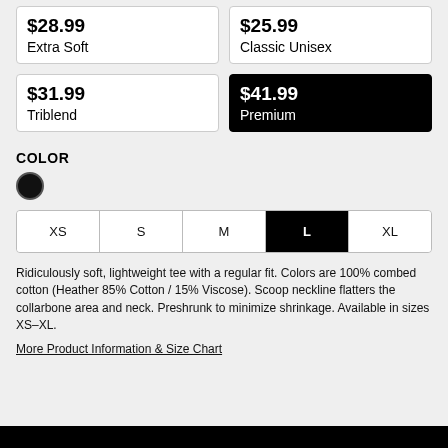| $28.99
Extra Soft | $25.99
Classic Unisex |
| $31.99
Triblend | $41.99
Premium |
COLOR
Size selector: XS, S, M, L (selected), XL
Ridiculously soft, lightweight tee with a regular fit. Colors are 100% combed cotton (Heather 85% Cotton / 15% Viscose). Scoop neckline flatters the collarbone area and neck. Preshrunk to minimize shrinkage. Available in sizes XS–XL.
More Product Information & Size Chart